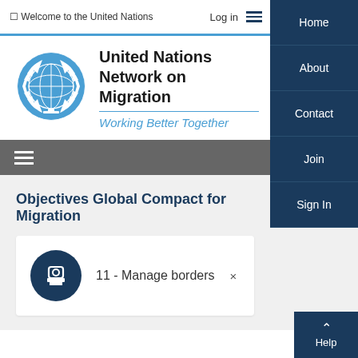☐ Welcome to the United Nations
[Figure (logo): United Nations emblem logo in blue]
United Nations Network on Migration
Working Better Together
Objectives Global Compact for Migration
11 - Manage borders  ×